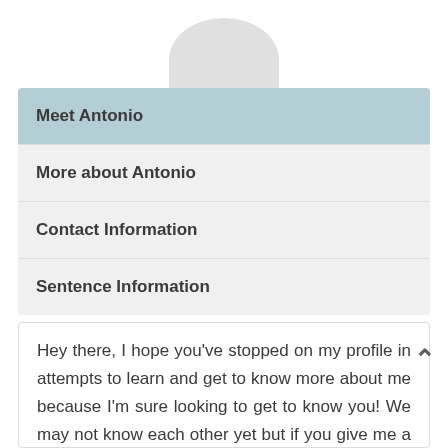[Figure (illustration): Partial circular avatar placeholder graphic, light gray, showing top half of a circle at the top of the page]
Meet Antonio
More about Antonio
Contact Information
Sentence Information
Hey there, I hope you've stopped on my profile in attempts to learn and get to know more about me because I'm sure looking to get to know you! We may not know each other yet but if you give me a chance, I'd be willing to bet that we'll build a strong connection that each of us will value for many to come that'll